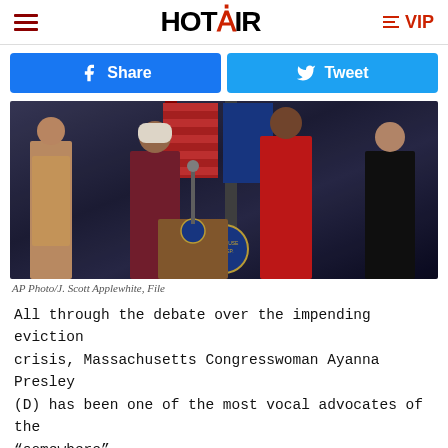HOT AIR
[Figure (photo): Four women standing at a podium with U.S. House of Representatives seal; one woman in white headscarf speaks at microphone, flanked by others in tan, red, and black outfits; American flags in background]
AP Photo/J. Scott Applewhite, File
All through the debate over the impending eviction crisis, Massachusetts Congresswoman Ayanna Presley (D) has been one of the most vocal advocates of the "somewhere" ...